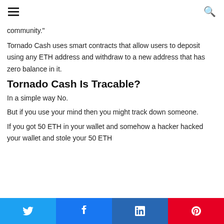[hamburger menu] [search icon]
community."
Tornado Cash uses smart contracts that allow users to deposit using any ETH address and withdraw to a new address that has zero balance in it.
Tornado Cash Is Tracable?
In a simple way No.
But if you use your mind then you might track down someone.
If you got 50 ETH in your wallet and somehow a hacker hacked your wallet and stole your 50 ETH
[Twitter share] [Facebook share] [LinkedIn share] [Pinterest share]